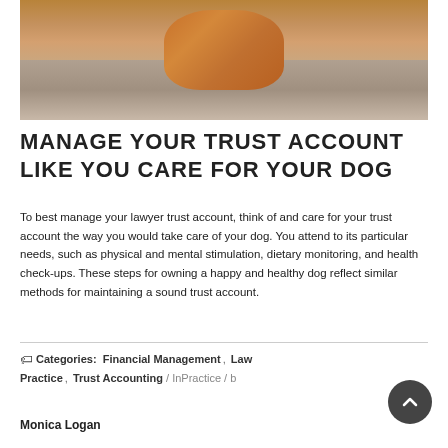[Figure (photo): Close-up photo of a dog's legs and paws on a wooden floor surface, with warm brown tones.]
MANAGE YOUR TRUST ACCOUNT LIKE YOU CARE FOR YOUR DOG
To best manage your lawyer trust account, think of and care for your trust account the way you would take care of your dog. You attend to its particular needs, such as physical and mental stimulation, dietary monitoring, and health check-ups. These steps for owning a happy and healthy dog reflect similar methods for maintaining a sound trust account.
Categories: Financial Management, Law Practice, Trust Accounting / InPractice / by Monica Logan